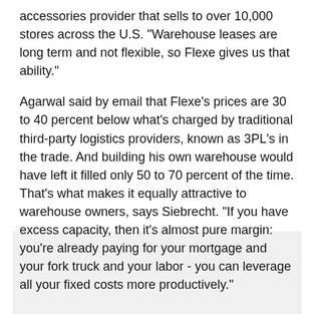accessories provider that sells to over 10,000 stores across the U.S. "Warehouse leases are long term and not flexible, so Flexe gives us that ability."
Agarwal said by email that Flexe's prices are 30 to 40 percent below what's charged by traditional third-party logistics providers, known as 3PL's in the trade. And building his own warehouse would have left it filled only 50 to 70 percent of the time. That's what makes it equally attractive to warehouse owners, says Siebrecht. "If you have excess capacity, then it's almost pure margin: you're already paying for your mortgage and your fork truck and your labor - you can leverage all your fixed costs more productively."